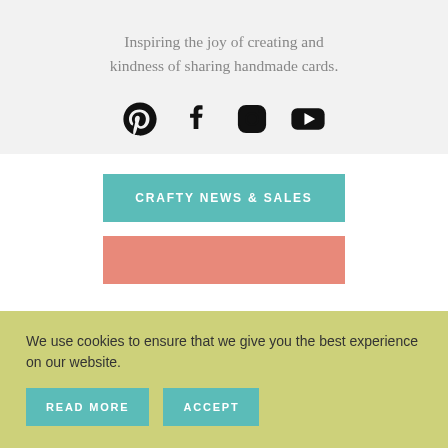Inspiring the joy of creating and kindness of sharing handmade cards.
[Figure (illustration): Social media icons: Pinterest, Facebook, Instagram, YouTube]
CRAFTY NEWS & SALES
We use cookies to ensure that we give you the best experience on our website.
READ MORE
ACCEPT